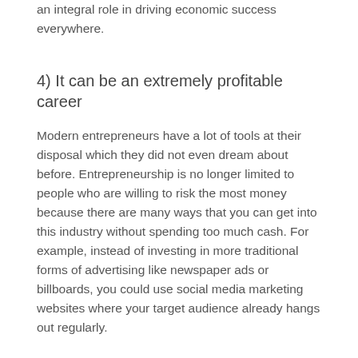an integral role in driving economic success everywhere.
4) It can be an extremely profitable career
Modern entrepreneurs have a lot of tools at their disposal which they did not even dream about before. Entrepreneurship is no longer limited to people who are willing to risk the most money because there are many ways that you can get into this industry without spending too much cash. For example, instead of investing in more traditional forms of advertising like newspaper ads or billboards, you could use social media marketing websites where your target audience already hangs out regularly.